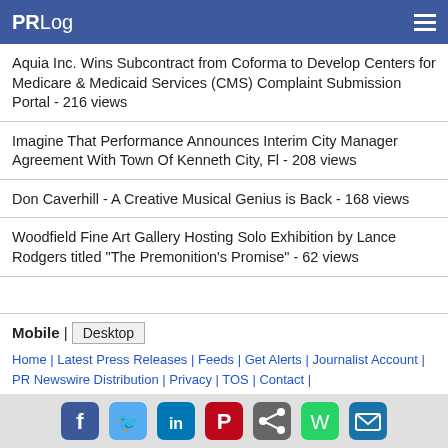PRLog
Aquia Inc. Wins Subcontract from Coforma to Develop Centers for Medicare & Medicaid Services (CMS) Complaint Submission Portal - 216 views
Imagine That Performance Announces Interim City Manager Agreement With Town Of Kenneth City, Fl - 208 views
Don Caverhill - A Creative Musical Genius is Back - 168 views
Woodfield Fine Art Gallery Hosting Solo Exhibition by Lance Rodgers titled "The Premonition's Promise" - 62 views
Mobile | Desktop
Home | Latest Press Releases | Feeds | Get Alerts | Journalist Account | PR Newswire Distribution | Privacy | TOS | Contact |